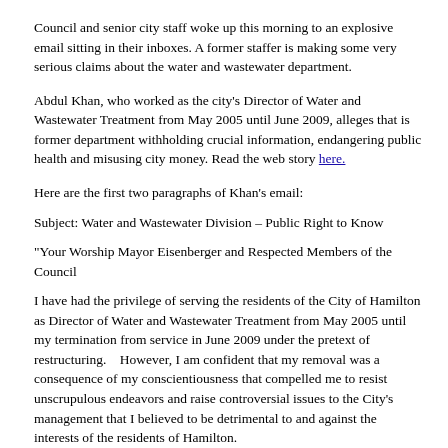Council and senior city staff woke up this morning to an explosive email sitting in their inboxes. A former staffer is making some very serious claims about the water and wastewater department.
Abdul Khan, who worked as the city's Director of Water and Wastewater Treatment from May 2005 until June 2009, alleges that is former department withholding crucial information, endangering public health and misusing city money. Read the web story here.
Here are the first two paragraphs of Khan's email:
Subject: Water and Wastewater Division – Public Right to Know
"Your Worship Mayor Eisenberger and Respected Members of the Council
I have had the privilege of serving the residents of the City of Hamilton as Director of Water and Wastewater Treatment from May 2005 until my termination from service in June 2009 under the pretext of restructuring.   However, I am confident that my removal was a consequence of my conscientiousness that compelled me to resist unscrupulous endeavors and raise controversial issues to the City's management that I believed to be detrimental to and against the interests of the residents of Hamilton.